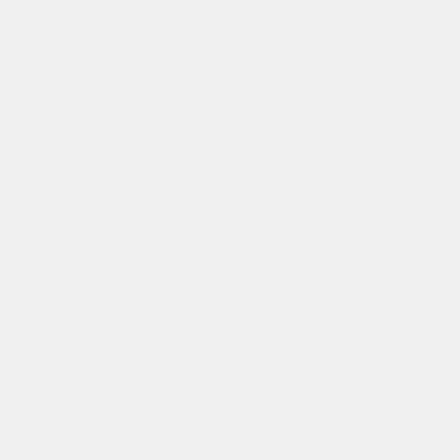(11) Preparation of memorand
29 17 Op. Atty. Gen. 554, Ju May 25, 1907; 30 Op. Atty. Ge
(12) Conduct of oral examinat special agent, Special Intelligenc
(13) Rating examinations, whe or reinstatement.
(14) Handling cases of irregula helps, or false statements of facts
(8c) Appointment Division.-(1 for departmental and field servic
(2) Preparation and maintenan appointment.
(3) Action and record in tem
(4) Entry of names on re-er
(5) Maintenance of service rec
(6) Action in cases involving c reference to the Division of Inves examination.